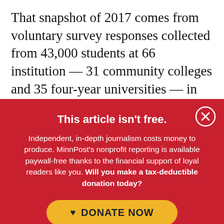That snapshot of 2017 comes from voluntary survey responses collected from 43,000 students at 66 institution — 31 community colleges and 35 four-year universities — in 20 states and Washington, D.C., including one Minnesota two-year college: Rochester Community and Technical College
This article isn't free.
Independent, in-depth journalism costs money to produce. MinnPost's nonprofit reporting is available paywall-free thanks to the financial support of loyal readers like you. Will you make a tax-deductible donation today?
DONATE NOW